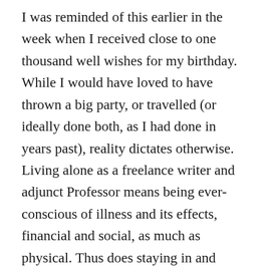I was reminded of this earlier in the week when I received close to one thousand well wishes for my birthday. While I would have loved to have thrown a big party, or travelled (or ideally done both, as I had done in years past), reality dictates otherwise. Living alone as a freelance writer and adjunct Professor means being ever-conscious of illness and its effects, financial and social, as much as physical. Thus does staying in and alone become less a choice than an exercise in logic. Choosing solitude, when one has the absolute privilege of people around them at any given moment (and never let it be forgotten that having people around – partners, family, associates, work colleagues, friendly neighbours, pets – is a very under-recognized form of privilege), is far and away a different thing from